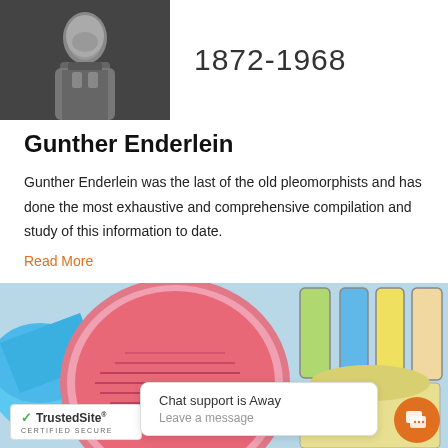[Figure (photo): Black and white photograph of Gunther Enderlein]
1872-1968
Gunther Enderlein
Gunther Enderlein was the last of the old pleomorphists and has done the most exhaustive and comprehensive compilation and study of this information to date.
Read More
[Figure (photo): Laboratory image showing petri dish with bacterial culture and lab equipment, with chat support overlay and TrustedSite certified badge]